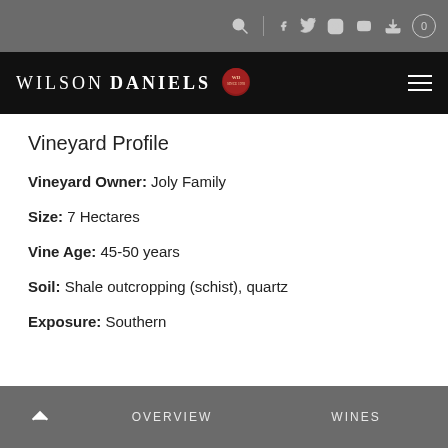Wilson Daniels (logo bar with navigation icons)
Vineyard Profile
Vineyard Owner: Joly Family
Size: 7 Hectares
Vine Age: 45-50 years
Soil: Shale outcropping (schist), quartz
Exposure: Southern
OVERVIEW  WINES